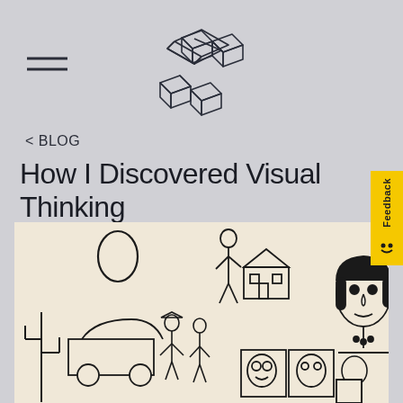[Figure (logo): Hamburger menu icon — two horizontal parallel lines]
[Figure (logo): Geometric X-shaped logo made of 3D isometric cube outlines forming an X shape, drawn in thin black lines]
< BLOG
How I Discovered Visual Thinking
[Figure (photo): Black and white hand-drawn sketch illustration showing various characters: a woman standing on a house rooftop, a large woman's face portrait on the right, people by a car in a desert with cactus, framed portraits of faces, and other figures]
Feedback